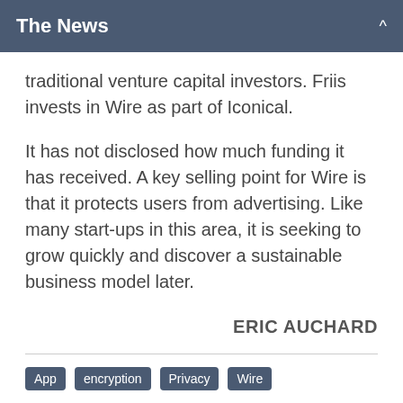The News
traditional venture capital investors. Friis invests in Wire as part of Iconical.
It has not disclosed how much funding it has received. A key selling point for Wire is that it protects users from advertising. Like many start-ups in this area, it is seeking to grow quickly and discover a sustainable business model later.
ERIC AUCHARD
App
encryption
Privacy
Wire